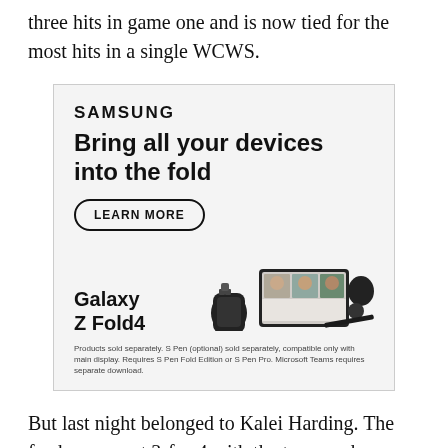three hits in game one and is now tied for the most hits in a single WCWS.
[Figure (other): Samsung Galaxy Z Fold4 advertisement featuring headline 'Bring all your devices into the fold', a LEARN MORE button, and product images of a smartwatch, foldable phone, earbuds, and stylus pen. Disclaimer: Products sold separately. S Pen (optional) sold separately, compatible only with main display. Requires S Pen Fold Edition or S Pen Pro. Microsoft Teams requires separate download.]
But last night belonged to Kalei Harding. The freshman went 3-for-4 with the two-run home run to left that opened the scoring and an RBI-single that closed it in the seventh.